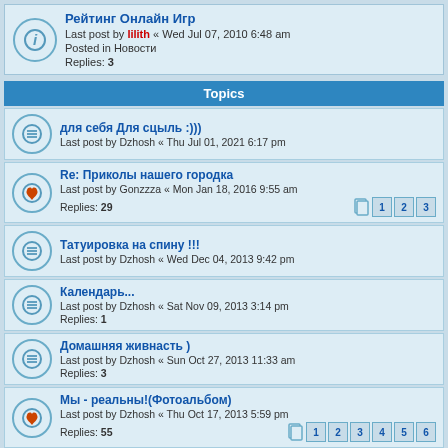Рейтинг Онлайн Игр — Last post by lilith « Wed Jul 07, 2010 6:48 am — Posted in Новости — Replies: 3
Topics
для себя Для сцыль :))) — Last post by Dzhosh « Thu Jul 01, 2021 6:17 pm
Re: Приколы нашего городка — Last post by Gonzzza « Mon Jan 18, 2016 9:55 am — Replies: 29 — Pages: 1 2 3
Татуировка на спину !!! — Last post by Dzhosh « Wed Dec 04, 2013 9:42 pm
Календарь... — Last post by Dzhosh « Sat Nov 09, 2013 3:14 pm — Replies: 1
Домашняя живнасть ) — Last post by Dzhosh « Sun Oct 27, 2013 11:33 am — Replies: 3
Мы - реальны!(Фотоальбом) — Last post by Dzhosh « Thu Oct 17, 2013 5:59 pm — Replies: 55 — Pages: 1 2 3 4 5 6
В Мемориз =) Видео, что меня вчепятлили =) — Last post by zorgano « Wed Sep 25, 2013 7:03 pm — Replies: 6